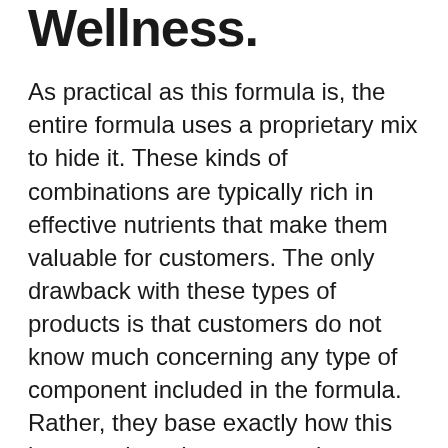Wellness.
As practical as this formula is, the entire formula uses a proprietary mix to hide it. These kinds of combinations are typically rich in effective nutrients that make them valuable for customers. The only drawback with these types of products is that customers do not know much concerning any type of component included in the formula. Rather, they base exactly how this item services the presumed advantages of each active ingredient's purpose.
Java Burn has all-natural ingredients that deal with your coffee as well as help supply weight-loss metabolic advantages. Nonetheless, the company does not reveal